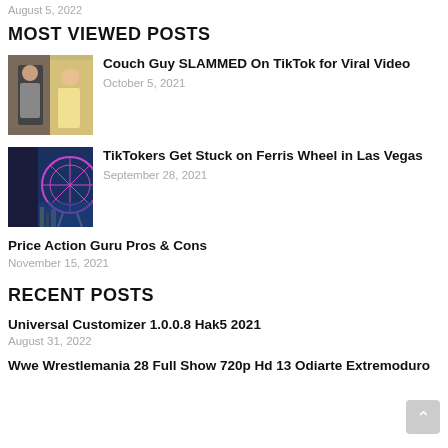August 5, 2022
MOST VIEWED POSTS
[Figure (photo): Thumbnail image of a person, split composition with warm tones]
Couch Guy SLAMMED On TikTok for Viral Video
October 5, 2021
[Figure (photo): Thumbnail image of a Ferris wheel at night with city lights]
TikTokers Get Stuck on Ferris Wheel in Las Vegas
September 28, 2021
Price Action Guru Pros & Cons
November 15, 2021
RECENT POSTS
Universal Customizer 1.0.0.8 Hak5 2021
August 31, 2022
Wwe Wrestlemania 28 Full Show 720p Hd 13 Odiarte Extremoduro